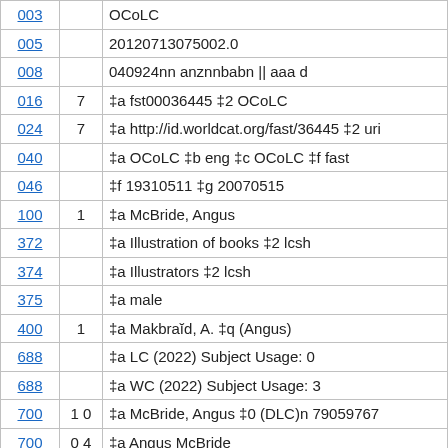| Code | Ind | Value |
| --- | --- | --- |
| 003 |  | OCoLC |
| 005 |  | 20120713075002.0 |
| 008 |  | 040924nn anznnbabn || aaa d |
| 016 | 7 | ‡a fst00036445 ‡2 OCoLC |
| 024 | 7 | ‡a http://id.worldcat.org/fast/36445 ‡2 uri |
| 040 |  | ‡a OCoLC ‡b eng ‡c OCoLC ‡f fast |
| 046 |  | ‡f 19310511 ‡g 20070515 |
| 100 | 1 | ‡a McBride, Angus |
| 372 |  | ‡a Illustration of books ‡2 lcsh |
| 374 |  | ‡a Illustrators ‡2 lcsh |
| 375 |  | ‡a male |
| 400 | 1 | ‡a Makbraĭd, A. ‡q (Angus) |
| 688 |  | ‡a LC (2022) Subject Usage: 0 |
| 688 |  | ‡a WC (2022) Subject Usage: 3 |
| 700 | 1 0 | ‡a McBride, Angus ‡0 (DLC)n 79059767 |
| 700 | 0 4 | ‡a Angus McBride |